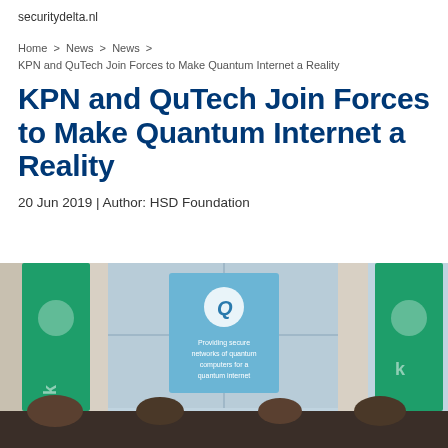securitydelta.nl
Home > News > News >
KPN and QuTech Join Forces to Make Quantum Internet a Reality
KPN and QuTech Join Forces to Make Quantum Internet a Reality
20 Jun 2019 | Author: HSD Foundation
[Figure (photo): Photo of a conference room with KPN green banners on the left and right, a QuTech blue sign in the center, large windows in the background, and seated attendees visible at the bottom of the frame.]